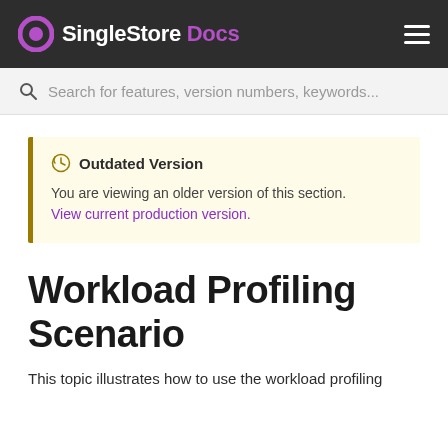SingleStore Docs
Search for features, version numbers, keywords...
Outdated Version
You are viewing an older version of this section.
View current production version.
Workload Profiling Scenario
This topic illustrates how to use the workload profiling